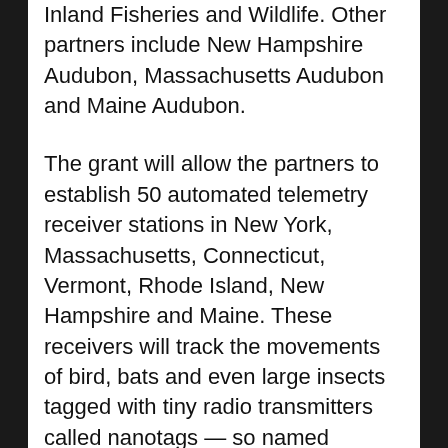Inland Fisheries and Wildlife. Other partners include New Hampshire Audubon, Massachusetts Audubon and Maine Audubon.
The grant will allow the partners to establish 50 automated telemetry receiver stations in New York, Massachusetts, Connecticut, Vermont, Rhode Island, New Hampshire and Maine. These receivers will track the movements of bird, bats and even large insects tagged with tiny radio transmitters called nanotags — so named because they are tiny enough to be placed on migrating animals as small as monarch butterflies and dragonflies. The receiver array will be part of the rapidly expanding Motus Wildlife Tracking System (motus.org), established in 2013 by Bird Studies Canada, which already includes nearly 900 such stations around the world.